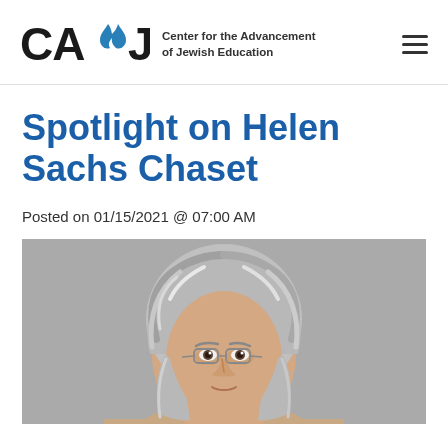CAJE — Center for the Advancement of Jewish Education
Spotlight on Helen Sachs Chaset
Posted on 01/15/2021 @ 07:00 AM
[Figure (photo): Portrait photograph of Helen Sachs Chaset, a woman with gray and white wavy hair wearing glasses, photographed against a gray background.]